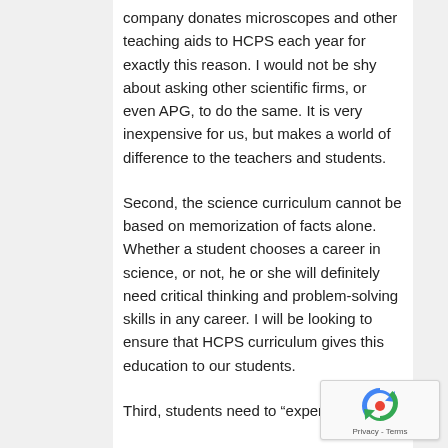company donates microscopes and other teaching aids to HCPS each year for exactly this reason. I would not be shy about asking other scientific firms, or even APG, to do the same. It is very inexpensive for us, but makes a world of difference to the teachers and students.
Second, the science curriculum cannot be based on memorization of facts alone. Whether a student chooses a career in science, or not, he or she will definitely need critical thinking and problem-solving skills in any career. I will be looking to ensure that HCPS curriculum gives this education to our students.
Third, students need to “experience”